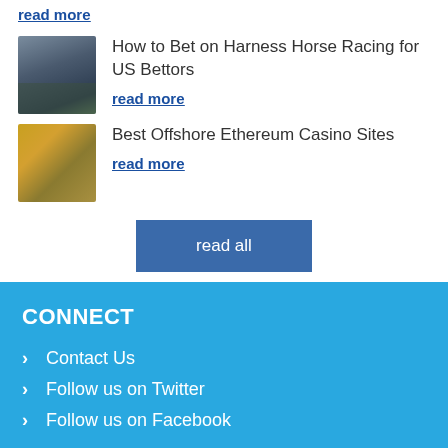read more
[Figure (photo): Thumbnail image of harness horse racing]
How to Bet on Harness Horse Racing for US Bettors
read more
[Figure (photo): Thumbnail image of Ethereum coins]
Best Offshore Ethereum Casino Sites
read more
read all
CONNECT
Contact Us
Follow us on Twitter
Follow us on Facebook